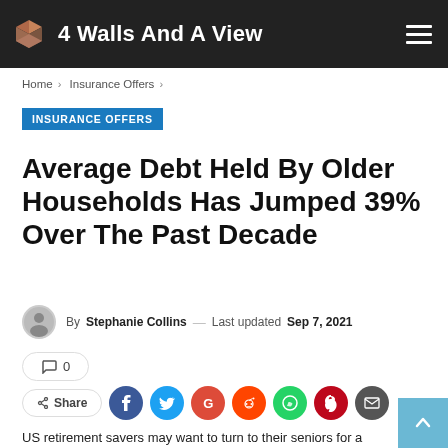4 Walls And A View
Home > Insurance Offers >
INSURANCE OFFERS
Average Debt Held By Older Households Has Jumped 39% Over The Past Decade
By Stephanie Collins — Last updated Sep 7, 2021
0
Share
US retirement savers may want to turn to their seniors for a